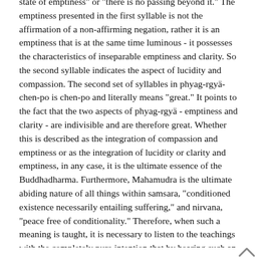state of emptiness" or "there is no passing beyond it." The emptiness presented in the first syllable is not the affirmation of a non-affirming negation, rather it is an emptiness that is at the same time luminous - it possesses the characteristics of inseparable emptiness and clarity. So the second syllable indicates the aspect of lucidity and compassion. The second set of syllables in phyag-rgyä-chen-po is chen-po and literally means "great." It points to the fact that the two aspects of phyag-rgyä - emptiness and clarity - are indivisible and are therefore great. Whether this is described as the integration of compassion and emptiness or as the integration of lucidity or clarity and emptiness, in any case, it is the ultimate essence of the Buddhadharma. Furthermore, Mahamudra is the ultimate abiding nature of all things within samsara, "conditioned existence necessarily entailing suffering," and nirvana, "peace free of conditionality." Therefore, when such a meaning is taught, it is necessary to listen to the teachings with the completely pure intention that by hearing such an explanation of Mahamudra, all beings will be benefited.
[Figure (other): A small upward-pointing chevron/caret arrow icon used as a scroll-to-top button, located in the bottom-right corner.]